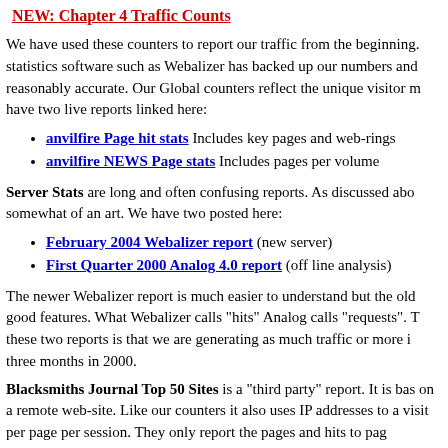NEW: Chapter 4 Traffic Counts
We have used these counters to report our traffic from the beginning. statistics software such as Webalizer has backed up our numbers and reasonably accurate. Our Global counters reflect the unique visitor m have two live reports linked here:
anvilfire Page hit stats Includes key pages and web-rings
anvilfire NEWS Page stats Includes pages per volume
Server Stats are long and often confusing reports. As discussed abo somewhat of an art. We have two posted here:
February 2004 Webalizer report (new server)
First Quarter 2000 Analog 4.0 report (off line analysis)
The newer Webalizer report is much easier to understand but the old good features. What Webalizer calls "hits" Analog calls "requests". T these two reports is that we are generating as much traffic or more i three months in 2000.
Blacksmiths Journal Top 50 Sites is a "third party" report. It is bas on a remote web-site. Like our counters it also uses IP addresses to a visit per page per session. They only report the pages and hits to pag advertising icon like below.
The traffic reported is only as accurate as the percentage of close th